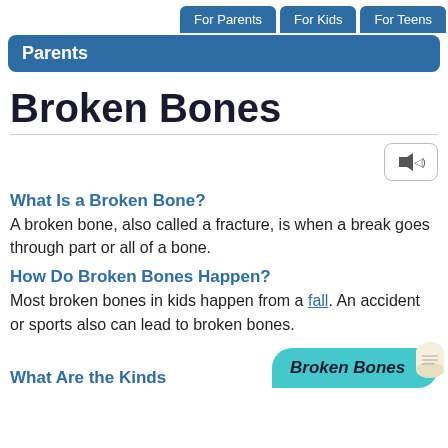For Parents | For Kids | For Teens
Parents
Broken Bones
What Is a Broken Bone?
A broken bone, also called a fracture, is when a break goes through part or all of a bone.
How Do Broken Bones Happen?
Most broken bones in kids happen from a fall. An accident or sports also can lead to broken bones.
What Are the Kinds
[Figure (illustration): Broken Bones badge/logo with teal rounded rectangle background and scroll graphic]